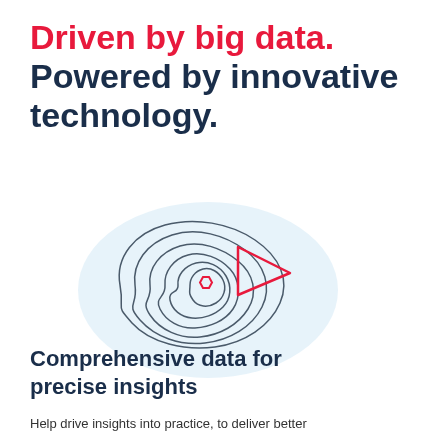Driven by big data. Powered by innovative technology.
[Figure (illustration): Topographic contour map illustration with concentric irregular lines in dark gray, a red hexagon marker at center, and a red triangle/arrow pointing to the right, set against a soft light-blue oval background shape.]
Comprehensive data for precise insights
Help drive insights into practice, to deliver better